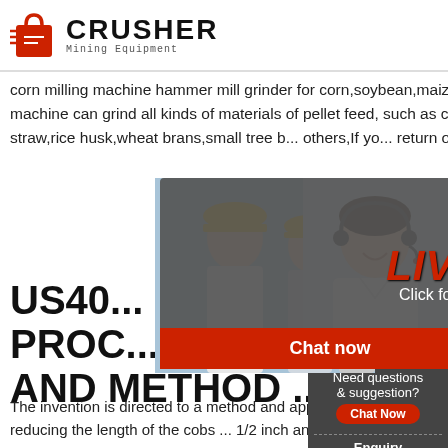CRUSHER Mining Equipment
corn milling machine hammer mill grinder for corn,soybean,maize,grass. the hammer mill corn milling grinder machine can grind all kinds of materials of pellet feed, such as corn, sorghum, grain, legumes, corn cob,dry wheat straw,rice husk,wheat brans,small tree b... others,If yo... return on yo...
US40... PROC... AND METHOD ...
[Figure (photo): Live chat overlay with workers wearing yellow hard hats on the left, and a customer service representative on the right. Overlay shows 'LIVE CHAT Click for a Free Consultation' with 'Chat now' and 'Chat later' buttons.]
The invention is directed to a method and appar... processing shelled corn cobs. The cobs are grad... and crushed for reducing the length of the cobs ... 1/2 inch and 3 inches. A second aspirator remov... remaining husks and hammer mills reduce the co... 3/8 inch to 1/2 inch pieces. The pieces are graded...
24Hrs Online
Need questions & suggestion? Chat Now Enquiry limingjlmofen@sina.com